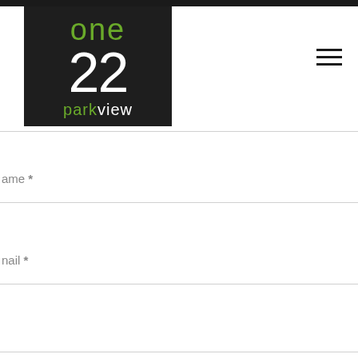[Figure (logo): One 22 Parkview logo — dark square background with green 'one', white '22', and 'parkview' in green/white text]
[Figure (other): Hamburger menu icon — three horizontal black lines]
Name *
Email *